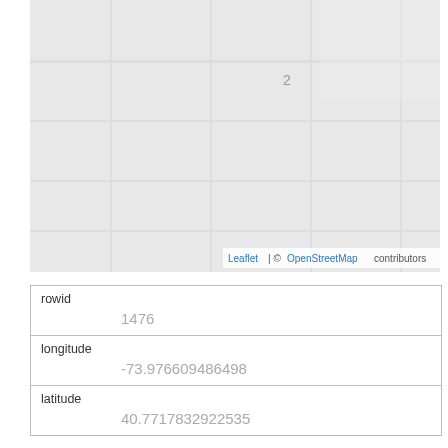[Figure (map): Leaflet map showing a light grey street map background with minimal visible features. Attribution reads 'Leaflet | © OpenStreetMap contributors'.]
| rowid | 1476 |
| longitude | -73.976609486498 |
| latitude | 40.7717832922535 |